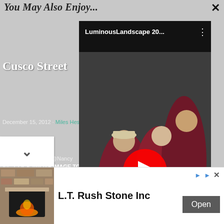You May Also Enjoy...
Cusco Street
December 15, 2012 · Miles Hesker
Cusco Street Scene@Nancy Pa... CLICK ABOVE IMAGE TO SEE GOOGLE MAP LOCATION SEASONS Pretty much all of Cusco able to walk in and shoot street
[Figure (screenshot): YouTube video player showing LuminousLandscape 20... title with red play button overlay, showing photographers in red jackets outdoors]
To continue reading with unlimited access join
[Figure (photo): Advertisement photo showing a stone fireplace interior]
L.T. Rush Stone Inc
Open